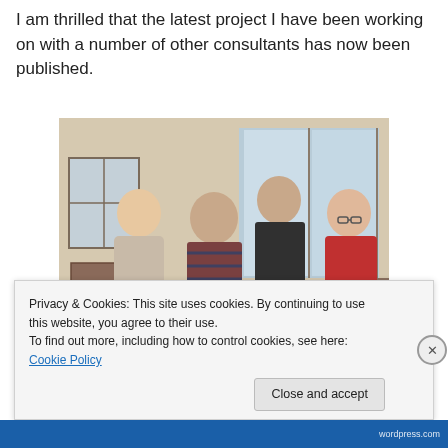I am thrilled that the latest project I have been working on with a number of other consultants has now been published.
[Figure (photo): Group photo of four adults (three women and one man) standing together indoors in a warmly lit room with sliding glass doors in the background.]
Privacy & Cookies: This site uses cookies. By continuing to use this website, you agree to their use.
To find out more, including how to control cookies, see here: Cookie Policy